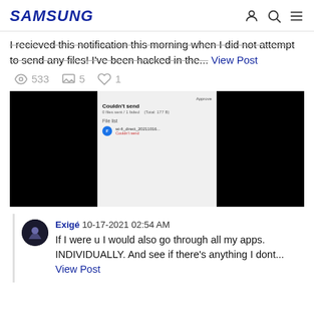SAMSUNG
I recieved this notification this morning when I did not attempt to send any files! I've been hacked in the... View Post
533 views  5 comments  1 like
[Figure (screenshot): Screenshot of a Samsung device showing a 'Couldn't send' notification. File list shows wi-fi_direct_20211016... Couldn't send. Black panels on left and right sides.]
Exigé 10-17-2021 02:54 AM  If I were u I would also go through all my apps. INDIVIDUALLY. And see if there's anything I dont... View Post